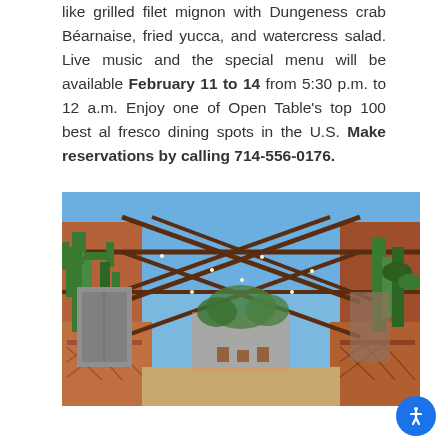like grilled filet mignon with Dungeness crab Béarnaise, fried yucca, and watercress salad. Live music and the special menu will be available February 11 to 14 from 5:30 p.m. to 12 a.m. Enjoy one of Open Table's top 100 best al fresco dining spots in the U.S. Make reservations by calling 714-556-0176.
[Figure (photo): Outdoor al fresco dining area of a restaurant with brick/terracotta walls, tall cacti plants on both sides, string lights overhead on a metal trellis framework against a blue sky, with tables visible in the background.]